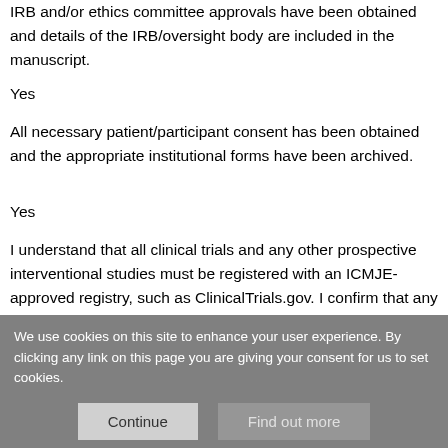IRB and/or ethics committee approvals have been obtained and details of the IRB/oversight body are included in the manuscript.
Yes
All necessary patient/participant consent has been obtained and the appropriate institutional forms have been archived.
Yes
I understand that all clinical trials and any other prospective interventional studies must be registered with an ICMJE-approved registry, such as ClinicalTrials.gov. I confirm that any such study reported in the manuscript has been registered and the trial registration ID is provided (note: if posting a prospective
We use cookies on this site to enhance your user experience. By clicking any link on this page you are giving your consent for us to set cookies.